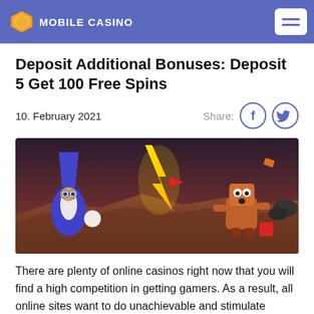MOBILE CASINO
Deposit Additional Bonuses: Deposit 5 Get 100 Free Spins
10. February 2021
[Figure (illustration): Casino game characters: a wizard with a glowing orb on the left and an animated character on the right, with a yellow lightning bolt in the background against a dark reddish-brown landscape.]
There are plenty of online casinos right now that you will find a high competition in getting gamers. As a result, all online sites want to do unachievable and stimulate customers to set up an account and begin wager slots with deposits. This is the bonuses that work as the main tool for getting customers and stimulating those to remain on the